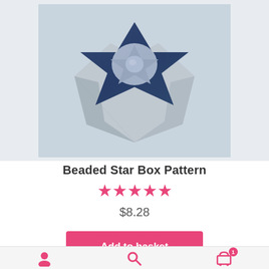[Figure (photo): A beaded star-shaped box made with silver and dark navy/blue seed beads, featuring a star-shaped lid with a crystal accent in the center, photographed on a light blue-grey background.]
Beaded Star Box Pattern
★★★★★ (5 stars rating)
$8.28
Add to basket